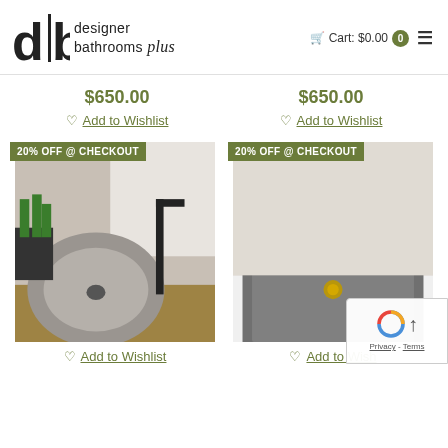[Figure (logo): Designer Bathrooms Plus logo with stylized 'db' letters and brand name]
Cart: $0.00  0
$650.00
Add to Wishlist
$650.00
Add to Wishlist
[Figure (photo): Round concrete vessel sink on wooden vanity with black faucet, green plant, white herringbone tile background. Badge: 20% OFF @ CHECKOUT]
[Figure (photo): Rectangular dark grey concrete vessel sink on white vanity with gold faucet and green plant. Badge: 20% OFF @ CHECKOUT]
Add to Wishlist
Add to Wish...